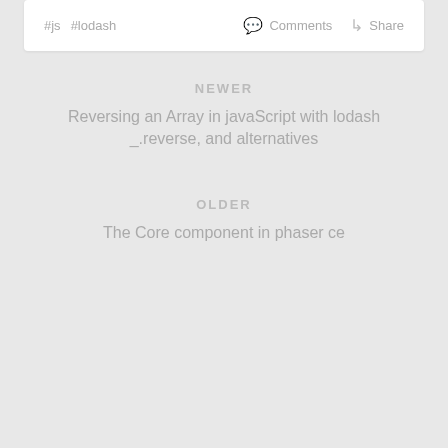#js  #lodash
Comments  Share
NEWER
Reversing an Array in javaScript with lodash _.reverse, and alternatives
OLDER
The Core component in phaser ce